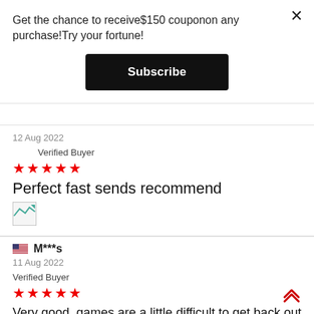Get the chance to receive$150 couponon any purchase!Try your fortune!
[Figure (other): Subscribe button - black rectangle with white bold text 'Subscribe']
12 Aug 2022
Verified Buyer
[Figure (other): Five red star rating]
Perfect fast sends recommend
[Figure (other): Small broken/placeholder image icon]
M***s
11 Aug 2022
Verified Buyer
[Figure (other): Five red star rating]
Very good, games are a little difficult to get back out but